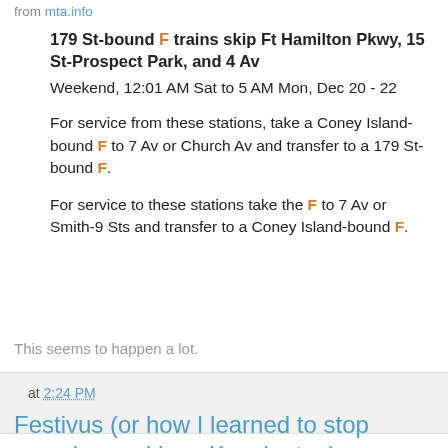from mta.info
179 St-bound F trains skip Ft Hamilton Pkwy, 15 St-Prospect Park, and 4 Av
Weekend, 12:01 AM Sat to 5 AM Mon, Dec 20 - 22
For service from these stations, take a Coney Island-bound F to 7 Av or Church Av and transfer to a 179 St-bound F.
For service to these stations take the F to 7 Av or Smith-9 Sts and transfer to a Coney Island-bound F.
This seems to happen a lot.
at 2:24 PM
Festivus (or how I learned to stop worrying and love Kensington)